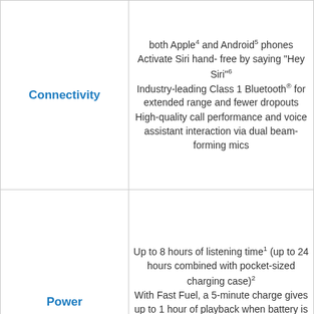| Feature | Description |
| --- | --- |
| Connectivity | both Apple4 and Android5 phones
Activate Siri hand- free by saying "Hey Siri"6
Industry-leading Class 1 Bluetooth® for extended range and fewer dropouts
High-quality call performance and voice assistant interaction via dual beam-forming mics |
| Power | Up to 8 hours of listening time1 (up to 24 hours combined with pocket-sized charging case)2
With Fast Fuel, a 5-minute charge gives up to 1 hour of playback when battery is low3
USB-C universal charging
Rechargeable lithium-ion battery |
|  | Single multi-function button per |